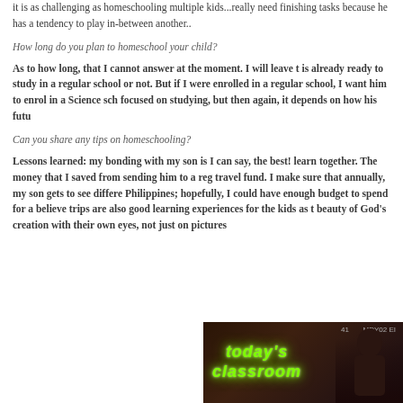it is as challenging as homeschooling multiple kids...really need finishing tasks because he has a tendency to play in-between another..
How long do you plan to homeschool your child?
As to how long, that I cannot answer at the moment. I will leave to see if he is already ready to study in a regular school or not. But if I were to have him enrolled in a regular school, I want him to enrol in a Science school. He is focused on studying, but then again, it depends on how his future goes.
Can you share any tips on homeschooling?
Lessons learned: my bonding with my son is I can say, the best! We learn together. The money that I saved from sending him to a regular school is for travel fund. I make sure that annually, my son gets to see different places in the Philippines; hopefully, I could have enough budget to spend for abroad. I believe trips are also good learning experiences for the kids as they see the beauty of God’s creation with their own eyes, not just on pictures.
[Figure (photo): Photo showing a neon sign reading 'today's classroom' with a child silhouette in the background, dark warm-toned setting. Page number 41 and code MDY02 visible at top.]